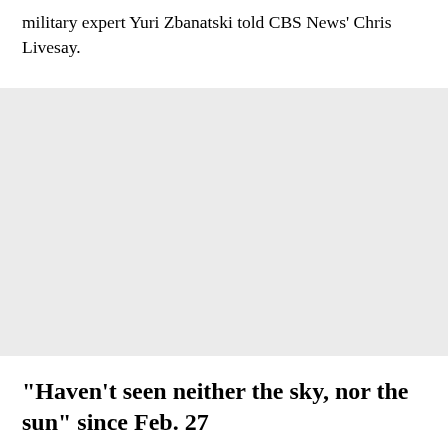military expert Yuri Zbanatski told CBS News' Chris Livesay.
[Figure (photo): A large light gray rectangular image placeholder area.]
"Haven't seen neither the sky, nor the sun" since Feb. 27